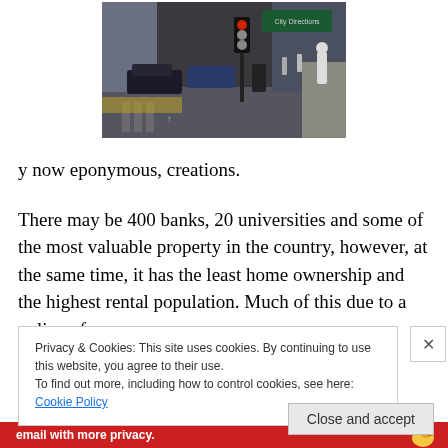[Figure (photo): Street scene showing an urban intersection with cars, pedestrians, buildings, and a traffic light.]
y now eponymous, creations.
There may be 400 banks, 20 universities and some of the most valuable property in the country, however, at the same time, it has the least home ownership and the highest rental population. Much of this due to a policy of
Privacy & Cookies: This site uses cookies. By continuing to use this website, you agree to their use.
To find out more, including how to control cookies, see here: Cookie Policy
Close and accept
[Figure (infographic): Advertisement banner at the bottom with red background, text 'email with more privacy.' and a duck logo on the right.]